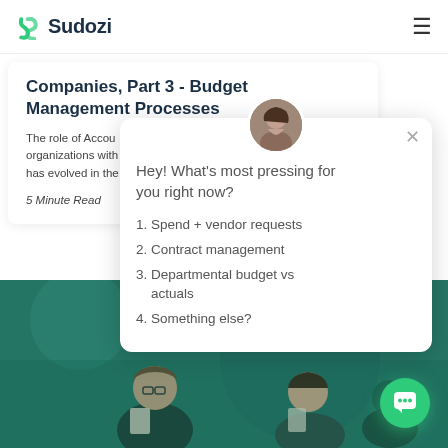Sudozi
Companies, Part 3 - Budget Management Processes
The role of Accou... organizations with... has evolved in the...
5 Minute Read
Hey! What's most pressing for you right now?
1. Spend + vendor requests
2. Contract management
3. Departmental budget vs actuals
4. Something else?
[Figure (photo): Two people in a meeting room reviewing documents, teal/green color overlay]